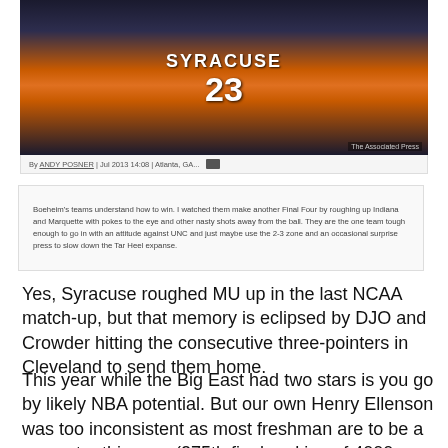[Figure (photo): A Syracuse basketball player wearing jersey number 23 celebrating with hands raised near face, crowd in background. The Associated Press credit shown.]
By ANDY POSNER | Jul 2013 14:08 | Atlanta, GA... [share icon]
Boeheim's teams understand how to win. I watched them make another Final Four by roughing up Indiana and Marquette with pokes to the eye and other nasty shots away from the ball. They are the one team tough enough to go in with an attitude against UNC and just maybe use the 2-3 zone and an occasional surprise press to slow down the Tar Heel expanse.
Yes, Syracuse roughed MU up in the last NCAA match-up, but that memory is eclipsed by DJO and Crowder hitting the consecutive three-pointers in Cleveland to send them home.
This year while the Big East had two stars is you go by likely NBA potential. But our own Henry Ellenson was too inconsistent as most freshman are to be a superstar this year (275th final ranking of 4000+ players).